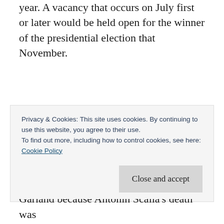year. A vacancy that occurs on July first or later would be held open for the winner of the presidential election that November.
My sense of fairness also calls for some remedy to the McConnell machinations that have skewed the federal courts to having more Republican appointees than there should have
Privacy & Cookies: This site uses cookies. By continuing to use this website, you agree to their use.
To find out more, including how to control cookies, see here:
Cookie Policy
Close and accept
Garland because Antonin Scalia's death was